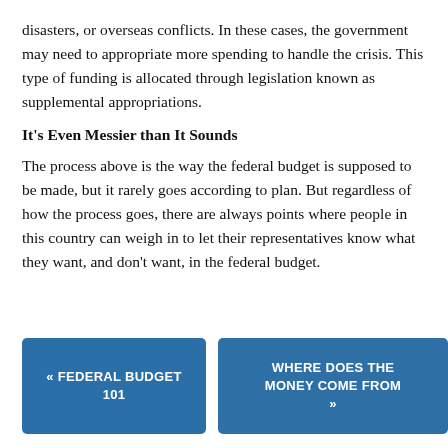disasters, or overseas conflicts. In these cases, the government may need to appropriate more spending to handle the crisis. This type of funding is allocated through legislation known as supplemental appropriations.
It's Even Messier than It Sounds
The process above is the way the federal budget is supposed to be made, but it rarely goes according to plan. But regardless of how the process goes, there are always points where people in this country can weigh in to let their representatives know what they want, and don't want, in the federal budget.
« FEDERAL BUDGET 101
WHERE DOES THE MONEY COME FROM »
△ Top